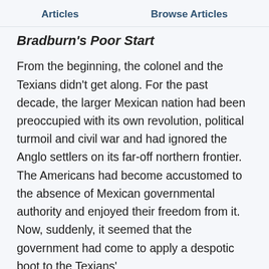Articles    Browse Articles
Bradburn's Poor Start
From the beginning, the colonel and the Texians didn't get along. For the past decade, the larger Mexican nation had been preoccupied with its own revolution, political turmoil and civil war and had ignored the Anglo settlers on its far-off northern frontier. The Americans had become accustomed to the absence of Mexican governmental authority and enjoyed their freedom from it. Now, suddenly, it seemed that the government had come to apply a despotic boot to the Texians'